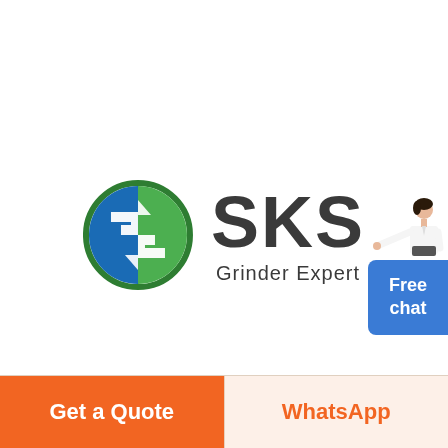[Figure (logo): SKS Grinder Expert logo: circular emblem with green and blue interlocking S-shapes on white background, followed by bold dark text 'SKS' and lighter text 'Grinder Expert' below]
[Figure (illustration): Small illustration of a woman in white blazer pointing, positioned top-right corner above a blue 'Free chat' button]
Free
chat
Get a Quote
WhatsApp